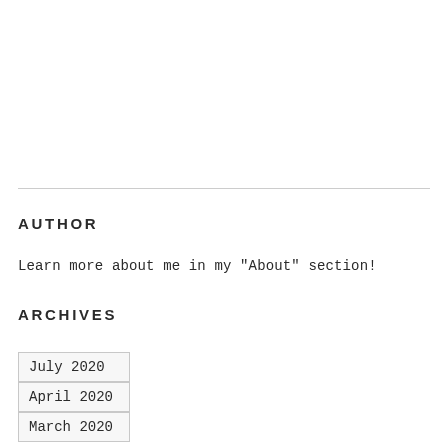AUTHOR
Learn more about me in my "About" section!
ARCHIVES
July 2020
April 2020
March 2020